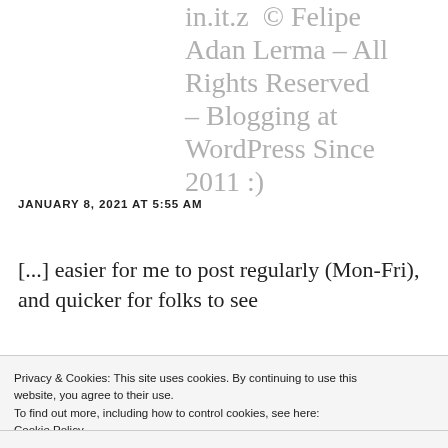in.it.z © Felipe Adan Lerma – All Rights Reserved – Blogging at WordPress Since 2011 :)
JANUARY 8, 2021 AT 5:55 AM
[...] easier for me to post regularly (Mon-Fri), and quicker for folks to see
Privacy & Cookies: This site uses cookies. By continuing to use this website, you agree to their use.
To find out more, including how to control cookies, see here:
Cookie Policy
Close and accept